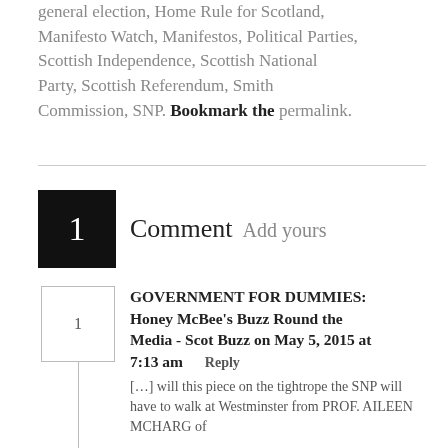general election, Home Rule for Scotland, Manifesto Watch, Manifestos, Political Parties, Scottish Independence, Scottish National Party, Scottish Referendum, Smith Commission, SNP. Bookmark the permalink.
1 Comment  Add yours
GOVERNMENT FOR DUMMIES: Honey McBee's Buzz Round the Media - Scot Buzz on May 5, 2015 at 7:13 am  Reply
[...] will this piece on the tightrope the SNP will have to walk at Westminster from PROF. AILEEN MCHARG of